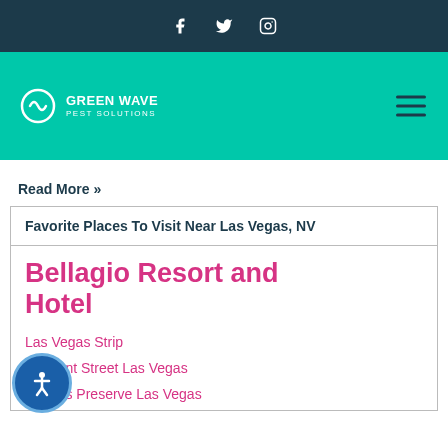Social icons: Facebook, Twitter, Instagram
[Figure (logo): Green Wave Pest Solutions logo with teal background and hamburger menu icon]
Read More »
Favorite Places To Visit Near Las Vegas, NV
Bellagio Resort and Hotel
Las Vegas Strip
Fremont Street Las Vegas
Springs Preserve Las Vegas